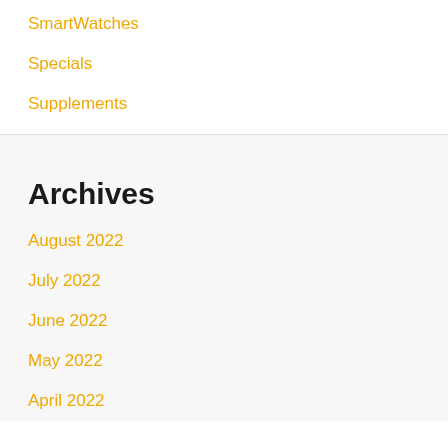SmartWatches
Specials
Supplements
Archives
August 2022
July 2022
June 2022
May 2022
April 2022